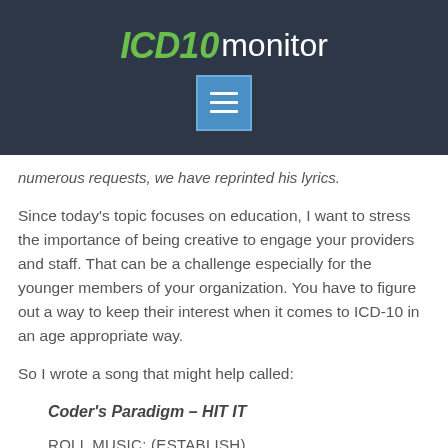ICD10 monitor
numerous requests, we have reprinted his lyrics.
Since today's topic focuses on education, I want to stress the importance of being creative to engage your providers and staff. That can be a challenge especially for the younger members of your organization. You have to figure out a way to keep their interest when it comes to ICD-10 in an age appropriate way.
So I wrote a song that might help called:
Coder's Paradigm – HIT IT
ROLL MUSIC: (ESTABLISH)